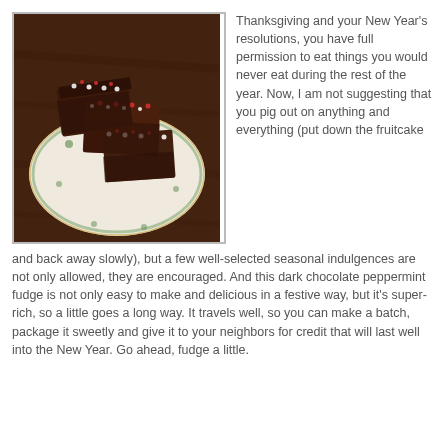[Figure (photo): Chocolate peppermint fudge pieces topped with crushed candy cane on a decorative white plate with green floral pattern, placed on a dark wooden surface.]
Thanksgiving and your New Year's resolutions, you have full permission to eat things you would never eat during the rest of the year. Now, I am not suggesting that you pig out on anything and everything (put down the fruitcake and back away slowly), but a few well-selected seasonal indulgences are not only allowed, they are encouraged. And this dark chocolate peppermint fudge is not only easy to make and delicious in a festive way, but it's super-rich, so a little goes a long way. It travels well, so you can make a batch, package it sweetly and give it to your neighbors for credit that will last well into the New Year. Go ahead, fudge a little.